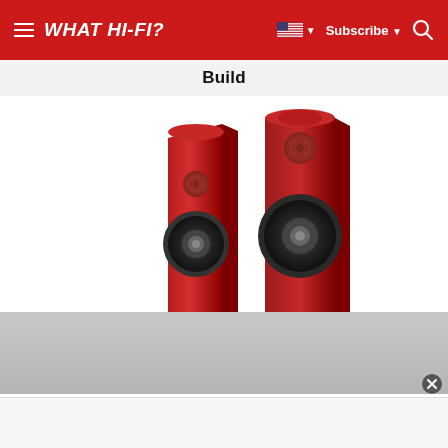WHAT HI-FI?
Build
[Figure (photo): Two tall, slim red metallic floor-standing speakers side by side on a light grey reflective surface. The left speaker is slightly shorter and angled, showing its tweeter and mid-bass driver. The right speaker is taller and more frontal, showing a red top section with tweeter and a large black mid-bass driver below.]
What does £25,000 get you? A crisply hewn metal